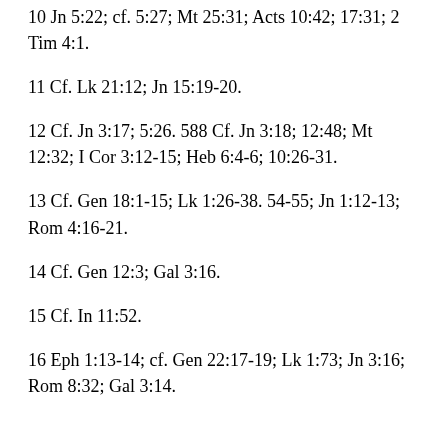10 Jn 5:22; cf. 5:27; Mt 25:31; Acts 10:42; 17:31; 2 Tim 4:1.
11 Cf. Lk 21:12; Jn 15:19-20.
12 Cf. Jn 3:17; 5:26. 588 Cf. Jn 3:18; 12:48; Mt 12:32; I Cor 3:12-15; Heb 6:4-6; 10:26-31.
13 Cf. Gen 18:1-15; Lk 1:26-38. 54-55; Jn 1:12-13; Rom 4:16-21.
14 Cf. Gen 12:3; Gal 3:16.
15 Cf. In 11:52.
16 Eph 1:13-14; cf. Gen 22:17-19; Lk 1:73; Jn 3:16; Rom 8:32; Gal 3:14.